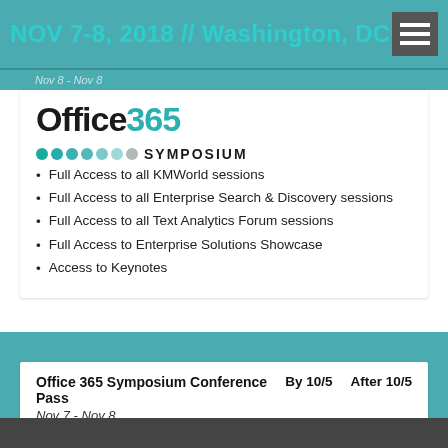NOV 7-8, 2018 // Washington, DC
Nov 8 - Nov 8
[Figure (logo): Office 365 Symposium logo with teal dots and bold text]
Full Access to all KMWorld sessions
Full Access to all Enterprise Search & Discovery sessions
Full Access to all Text Analytics Forum sessions
Full Access to Enterprise Solutions Showcase
Access to Keynotes
| Office 365 Symposium Conference Pass | By 10/5 | After 10/5 |
| --- | --- | --- |
| Nov 7 - Nov 8 |  |  |
| Full Access to all Office 365 Symposium | $995 | $1,195 |